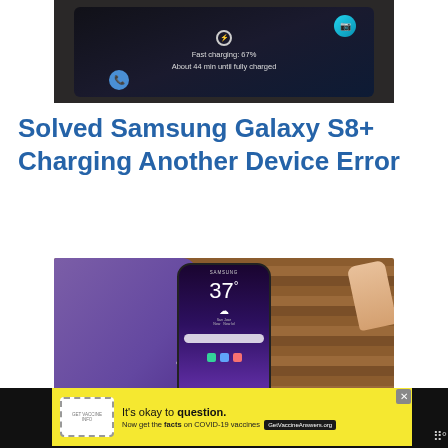[Figure (photo): Samsung smartphone on charging screen showing 'Fast charging: 67%, About 44 min until fully charged' on a dark background with blue and teal circular icons]
Solved Samsung Galaxy S8+ Charging Another Device Error
[Figure (photo): Person wearing purple gloves holding a Samsung Galaxy S8+ smartphone displaying weather (37°) against a wooden surface background with another hand visible]
[Figure (photo): Advertisement banner: It's okay to question. Now get the facts on COVID-19 vaccines. GetVaccineAnswers.org]